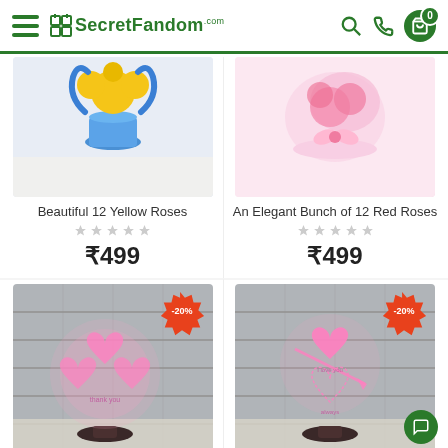SecretFandom - e-commerce website header with hamburger menu, logo, search, phone, and cart icons
[Figure (photo): Product photo: Beautiful 12 Yellow Roses - blue and yellow flower arrangement on light background]
Beautiful 12 Yellow Roses
₹499
[Figure (photo): Product photo: An Elegant Bunch of 12 Red Roses - pink roses with decorative wrapping on pink background]
An Elegant Bunch of 12 Red Roses
₹499
[Figure (photo): Product photo of decorative 3D LED lamp with heart shapes, -20% discount badge, on concrete wall background]
[Figure (photo): Product photo of decorative 3D LED lamp with heart and arrow design, -20% discount badge, on concrete wall background]